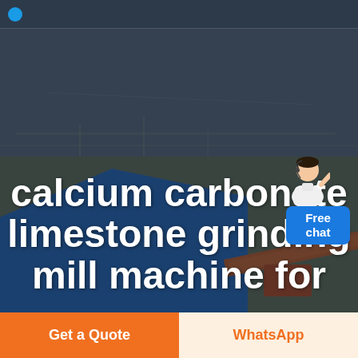[Figure (photo): Aerial view of an industrial facility with blue roofs and conveyor belts, used as hero background image. A customer service representative avatar appears in the upper right with a 'Free chat' button overlay.]
calcium carbonate limestone grinding mill machine for
Get a Quote
WhatsApp